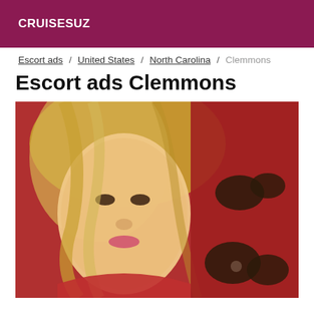CRUISESUZ
Escort ads / United States / North Carolina / Clemmons
Escort ads Clemmons
[Figure (photo): Close-up photo of a blonde woman in a red outfit with decorative embellishments, smiling at the camera]